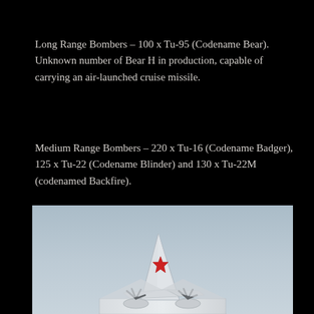Long Range Bombers – 100 x Tu-95 (Codename Bear). Unknown number of Bear H in production, capable of carrying an air-launched cruise missile.
Medium Range Bombers – 220 x Tu-16 (Codename Badger), 125 x Tu-22 (Codename Blinder) and 130 x Tu-22M (codenamed Backfire).
Tu-160 (Codenamed Blackjack).
.
[Figure (photo): Photograph of a Soviet military bomber aircraft in flight, showing the tail section with a red star marking. The aircraft appears to be a Tu-95 or similar large bomber against a grey sky background.]